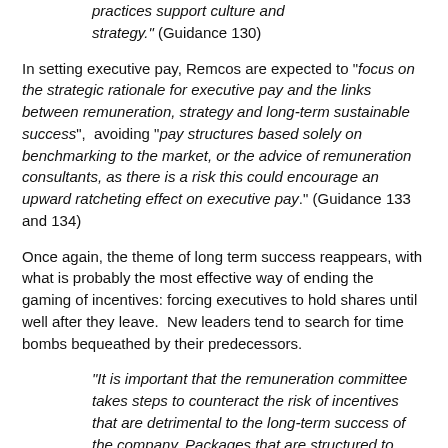practices support culture and strategy." (Guidance 130)
In setting executive pay, Remcos are expected to "focus on the strategic rationale for executive pay and the links between remuneration, strategy and long-term sustainable success",  avoiding "pay structures based solely on benchmarking to the market, or the advice of remuneration consultants, as there is a risk this could encourage an upward ratcheting effect on executive pay." (Guidance 133 and 134)
Once again, the theme of long term success reappears, with what is probably the most effective way of ending the gaming of incentives: forcing executives to hold shares until well after they leave.  New leaders tend to search for time bombs bequeathed by their predecessors.
"It is important that the remuneration committee takes steps to counteract the risk of incentives that are detrimental to the long-term success of the company. Packages that are structured to